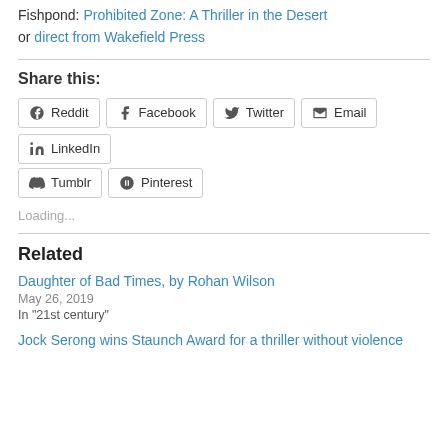Fishpond: Prohibited Zone: A Thriller in the Desert or direct from Wakefield Press
Share this:
Loading...
Related
Daughter of Bad Times, by Rohan Wilson
May 26, 2019
In "21st century"
Jock Serong wins Staunch Award for a thriller without violence